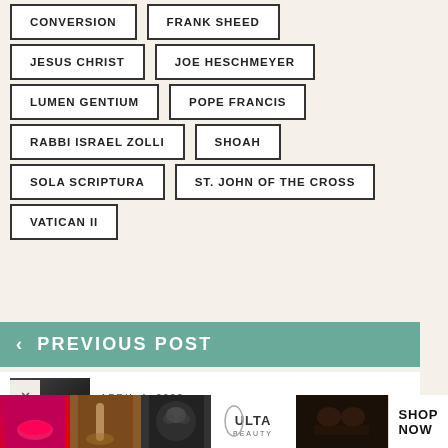CONVERSION
FRANK SHEED
JESUS CHRIST
JOE HESCHMEYER
LUMEN GENTIUM
POPE FRANCIS
RABBI ISRAEL ZOLLI
SHOAH
SOLA SCRIPTURA
ST. JOHN OF THE CROSS
VATICAN II
< PREVIOUS POST
APRIL 4, 2022
How Not to Be a Terrible Sea Lion
[Figure (photo): Advertisement banner for ULTA beauty products showing makeup images and SHOP NOW call to action]